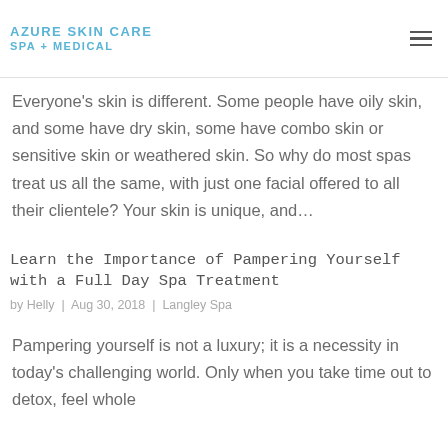AZURE SKIN CARE SPA + MEDICAL
Why Are There Benefits to a Customized Facial
by Helly | Sep 13, 2018 | Langley Spa
Everyone's skin is different. Some people have oily skin, and some have dry skin, some have combo skin or sensitive skin or weathered skin. So why do most spas treat us all the same, with just one facial offered to all their clientele? Your skin is unique, and…
Learn the Importance of Pampering Yourself with a Full Day Spa Treatment
by Helly | Aug 30, 2018 | Langley Spa
Pampering yourself is not a luxury; it is a necessity in today's challenging world. Only when you take time out to detox, feel whole